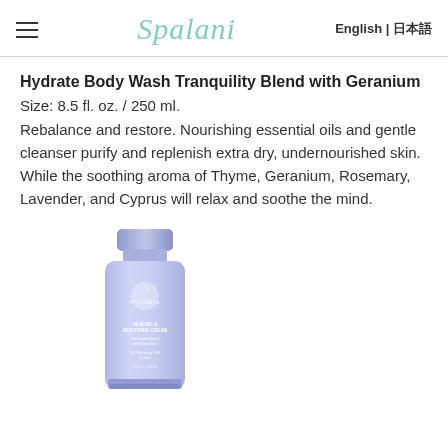Spalani | English | 日本語
Hydrate Body Wash Tranquility Blend with Geranium
Size: 8.5 fl. oz. / 250 ml.
Rebalance and restore. Nourishing essential oils and gentle cleanser purify and replenish extra dry, undernourished skin. While the soothing aroma of Thyme, Geranium, Rosemary, Lavender, and Cyprus will relax and soothe the mind.
[Figure (photo): A lavender/periwinkle blue squeeze tube of Hylunia Healing & Restoring Cream, Tranquility Blend with Geranium, 8.5 fl. oz.]